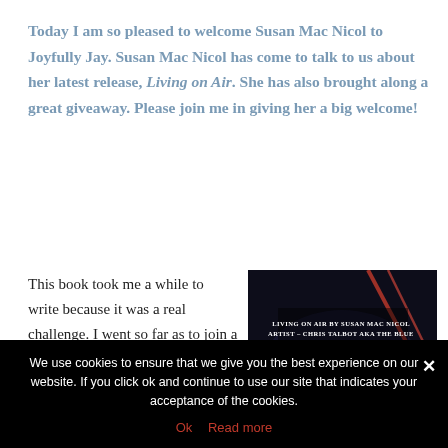Today I am so pleased to welcome Susan Mac Nicol to Joyfully Jay. Susan Mac Nicol has come to talk to us about her latest release, Living on Air. She has also brought along a great giveaway. Please join me in giving her a big welcome!
This book took me a while to write because it was a real challenge. I went so far as to join a circus for
[Figure (photo): Book cover image for Living on Air by Susan Mac Nicol, artist Chris Talbot aka the Blue Phoenix. Dark background with light streaks and ribbon-like shapes in blue and red/orange tones. Text overlay reads: Living on Air by Susan Mac Nicol / Artist – Chris Talbot aka the Blue Phoenix]
We use cookies to ensure that we give you the best experience on our website. If you click ok and continue to use our site that indicates your acceptance of the cookies.
Ok   Read more